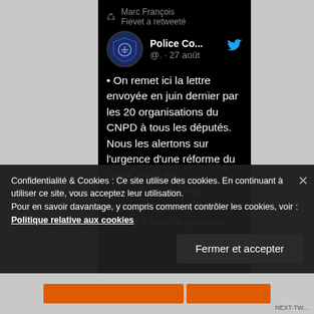[Figure (screenshot): Screenshot of a Twitter/social media post. Marc François Fievet a retweeté. Police Co... @. · 27 août. Tweet text: • On remet ici la lettre envoyée en juin dernier par les 20 organisations du CNPD à tous les députés. Nous les alertons sur l'urgence d'une réforme du cadre légal des #stupéfiants, et leur indiquons que nous nous tenons à leur disposition]
Confidentialité & Cookies : Ce site utilise des cookies. En continuant à utiliser ce site, vous acceptez leur utilisation.
Pour en savoir davantage, y compris comment contrôler les cookies, voir :
Politique relative aux cookies
Fermer et accepter